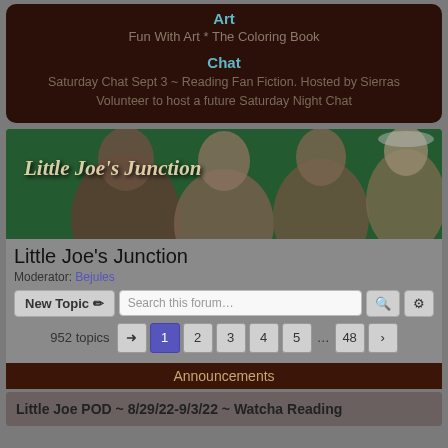Art
Fun With Art * The Coloring Book
Chat
Saturday Chat Sept 3 ~ Reading Fan Fiction. Hosted by Sierras
Volunteer to host a future Saturday Night Chat
[Figure (photo): Banner image for Little Joe's Junction forum showing multiple men against a green background with the text 'Little Joe's Junction']
Little Joe's Junction
Moderator: Bejules
New Topic  Search this forum...
952 topics  1 2 3 4 5 ... 48
Announcements
Little Joe POD ~ 8/29/22-9/3/22 ~ Watcha Reading